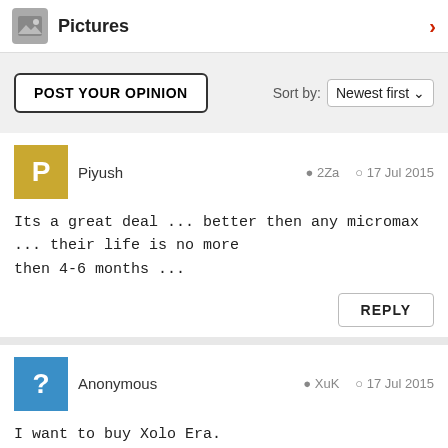Pictures
POST YOUR OPINION   Sort by: Newest first
Piyush   2Za   17 Jul 2015
Its a great deal ... better then any micromax ... their life is no more then 4-6 months ...
REPLY
Anonymous   XuK   17 Jul 2015
I want to buy Xolo Era.